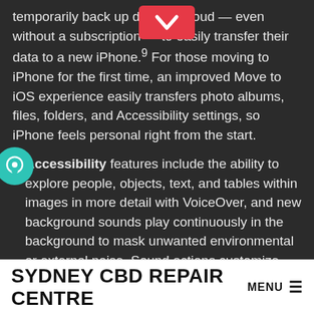temporarily back up data to iCloud — even without a subscription — to easily transfer their data to a new iPhone.9 For those moving to iPhone for the first time, an improved Move to iOS experience easily transfers photo albums, files, folders, and Accessibility settings, so iPhone feels personal right from the start.
Accessibility features include the ability to explore people, objects, text, and tables within images in more detail with VoiceOver, and new background sounds play continuously in the background to mask unwanted environmental or external noise. Sound actions customize Switch Control to work with mouth sounds, and users can customize display and text size settings on an app-by-app basis. Apple is also bringing support for recognizing imported audiograms — charts that show the results of a
SYDNEY CBD REPAIR CENTRE  MENU ≡